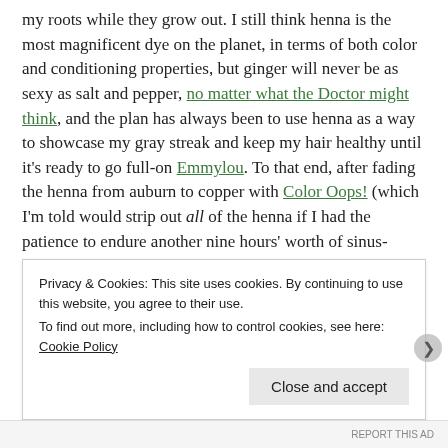my roots while they grow out. I still think henna is the most magnificent dye on the planet, in terms of both color and conditioning properties, but ginger will never be as sexy as salt and pepper, no matter what the Doctor might think, and the plan has always been to use henna as a way to showcase my gray streak and keep my hair healthy until it's ready to go full-on Emmylou. To that end, after fading the henna from auburn to copper with Color Oops! (which I'm told would strip out all of the henna if I had the patience to endure another nine hours' worth of sinus-crushing brimstone fumes, which I don't), I rustled up a red mousse that precisely matches the remaining color, rinses out in a single wash, and should keep my roots from looking too unkempt while they grow out. I caught a three-for-two sale, so by the time I run out of the s
Privacy & Cookies: This site uses cookies. By continuing to use this website, you agree to their use.
To find out more, including how to control cookies, see here: Cookie Policy
Close and accept